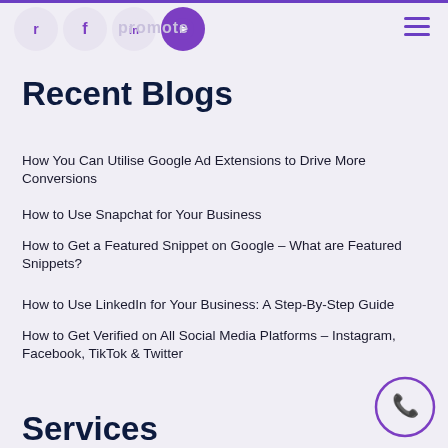Social media icons and navigation header
Recent Blogs
How You Can Utilise Google Ad Extensions to Drive More Conversions
How to Use Snapchat for Your Business
How to Get a Featured Snippet on Google – What are Featured Snippets?
How to Use LinkedIn for Your Business: A Step-By-Step Guide
How to Get Verified on All Social Media Platforms – Instagram, Facebook, TikTok & Twitter
Services